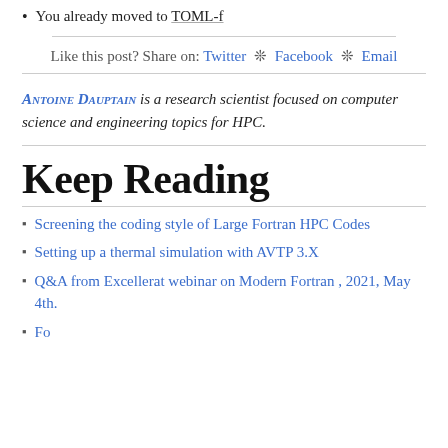You already moved to TOML-f
Like this post? Share on: Twitter ❊ Facebook ❊ Email
Antoine Dauptain is a research scientist focused on computer science and engineering topics for HPC.
Keep Reading
Screening the coding style of Large Fortran HPC Codes
Setting up a thermal simulation with AVTP 3.X
Q&A from Excellerat webinar on Modern Fortran , 2021, May 4th.